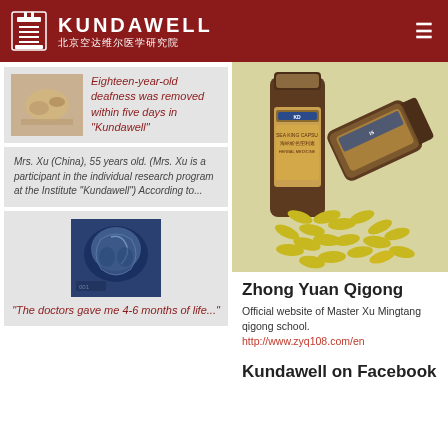KUNDAWELL 北京空达维尔医学研究院
[Figure (photo): Small thumbnail photo of pills/capsules on left side of card]
Eighteen-year-old deafness was removed within five days in "Kundawell"
Mrs. Xu (China), 55 years old. (Mrs. Xu is a participant in the individual research program at the Institute "Kundawell") According to...
[Figure (photo): MRI brain scan image shown in blue tones]
"The doctors gave me 4-6 months of life..."
[Figure (photo): Product photo of Sea King Capsule supplement bottles with yellow capsules spilled out]
Zhong Yuan Qigong
Official website of Master Xu Mingtang qigong school. http://www.zyq108.com/en
Kundawell on Facebook